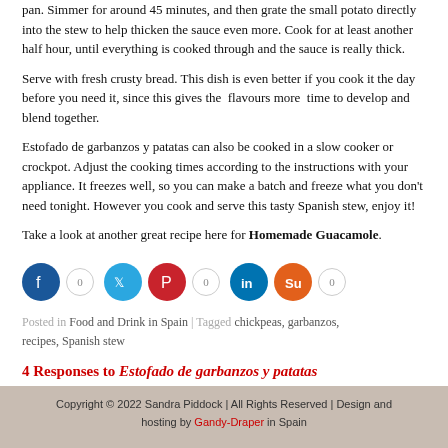pan. Simmer for around 45 minutes, and then grate the small potato directly into the stew to help thicken the sauce even more. Cook for at least another half hour, until everything is cooked through and the sauce is really thick.
Serve with fresh crusty bread. This dish is even better if you cook it the day before you need it, since this gives the  flavours more  time to develop and blend together.
Estofado de garbanzos y patatas can also be cooked in a slow cooker or crockpot. Adjust the cooking times according to the instructions with your appliance. It freezes well, so you can make a batch and freeze what you don't need tonight. However you cook and serve this tasty Spanish stew, enjoy it!
Take a look at another great recipe here for Homemade Guacamole.
[Figure (infographic): Social sharing buttons: Facebook (0), Twitter, Pinterest (0), LinkedIn, StumbleUpon (0)]
Posted in Food and Drink in Spain | Tagged chickpeas, garbanzos, recipes, Spanish stew
4 Responses to Estofado de garbanzos y patatas (chickpea and potato stew)
Copyright © 2022 Sandra Piddock | All Rights Reserved | Design and hosting by Gandy-Draper in Spain